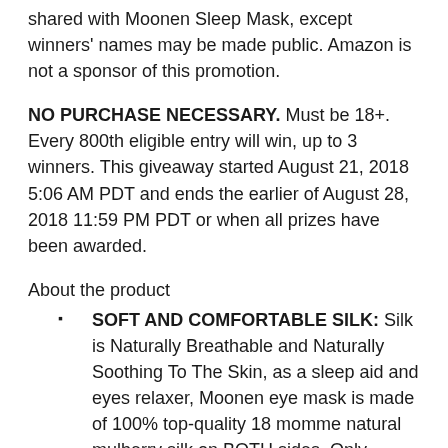shared with Moonen Sleep Mask, except winners’ names may be made public. Amazon is not a sponsor of this promotion.
NO PURCHASE NECESSARY. Must be 18+. Every 800th eligible entry will win, up to 3 winners. This giveaway started August 21, 2018 5:06 AM PDT and ends the earlier of August 28, 2018 11:59 PM PDT or when all prizes have been awarded.
About the product
SOFT AND COMFORTABLE SILK: Silk is Naturally Breathable and Naturally Soothing To The Skin, as a sleep aid and eyes relaxer, Moonen eye mask is made of 100% top-quality 18 momme natural mulberry silk on BOTH sides. Only super-soft, super-smooth pure silk offers the breathable, cool relaxation of the soothing masks found at the world’s premier spas. The blue model is also reversiable with blue and